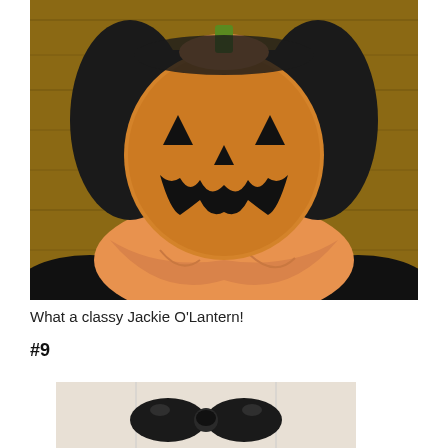[Figure (photo): Person wearing a jack-o-lantern face paint/mask with a black bob wig and small orange hat on top, dressed in an orange satin garment, posed against a wooden wall background — a 'Jackie O'Lantern' Halloween costume.]
What a classy Jackie O'Lantern!
#9
[Figure (photo): Partial view of a person in a Hello Kitty themed costume, showing a large black bow headpiece against a light background.]